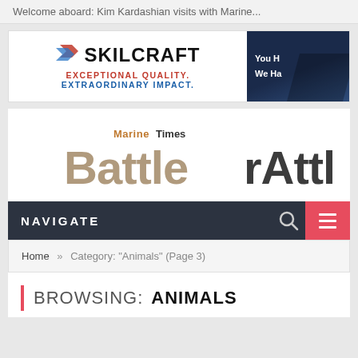Welcome aboard: Kim Kardashian visits with Marine...
[Figure (advertisement): Skilcraft advertisement banner with logo, red chevron icon, tagline 'EXCEPTIONAL QUALITY. EXTRAORDINARY IMPACT.' and dark blue panel on right with 'You H... We Ha...' text]
[Figure (logo): Marine Times BattleRattle blog logo with military camouflage-style lettering]
NAVIGATE
Home » Category: "Animals" (Page 3)
BROWSING:  ANIMALS